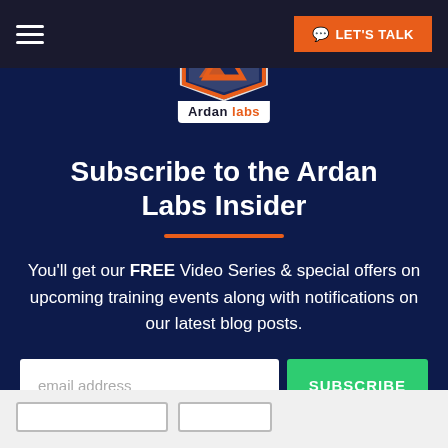Ardan labs — LET'S TALK
[Figure (logo): Ardan Labs logo — pentagon shield shape in orange and dark navy with a white triangle mountain symbol. White banner below reads 'Ardan labs' with 'Ardan' in dark and 'labs' in orange.]
Subscribe to the Ardan Labs Insider
You'll get our FREE Video Series & special offers on upcoming training events along with notifications on our latest blog posts.
email address  SUBSCRIBE